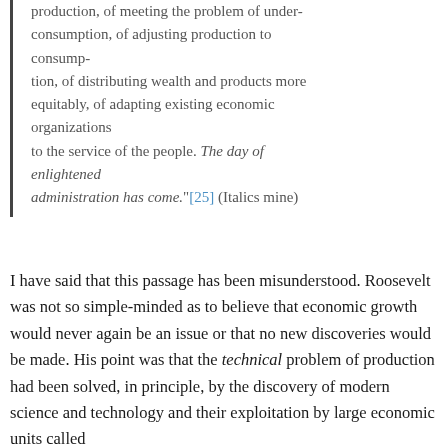production, of meeting the problem of under-consumption, of adjusting production to consump-tion, of distributing wealth and products more equitably, of adapting existing economic organizations to the service of the people. The day of enlightened administration has come."[25] (Italics mine)
I have said that this passage has been misunderstood. Roosevelt was not so simple-minded as to believe that economic growth would never again be an issue or that no new discoveries would be made. His point was that the technical problem of production had been solved, in principle, by the discovery of modern science and technology and their exploitation by large economic units called